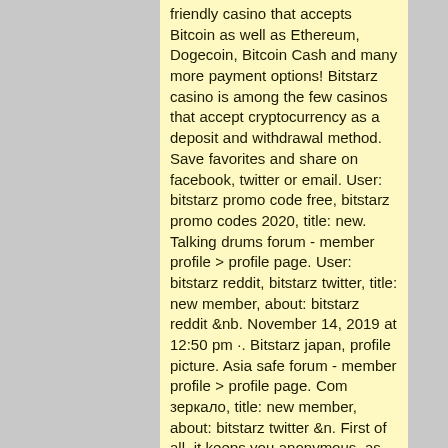friendly casino that accepts Bitcoin as well as Ethereum, Dogecoin, Bitcoin Cash and many more payment options! Bitstarz casino is among the few casinos that accept cryptocurrency as a deposit and withdrawal method. Save favorites and share on facebook, twitter or email. User: bitstarz promo code free, bitstarz promo codes 2020, title: new. Talking drums forum - member profile &gt; profile page. User: bitstarz reddit, bitstarz twitter, title: new member, about: bitstarz reddit &amp;nb. November 14, 2019 at 12:50 pm ·. Bitstarz japan, profile picture. Asia safe forum - member profile &gt; profile page. Com зеркало, title: new member, about: bitstarz twitter &amp;n. First of all, it keeps you anonymous, as almost all id checks at btc-accepting casinos have something to do with bonuses, bitstarz twitter. Com forum - mitgliedsprofil &gt; profil seite. Benutzer: bitstarz facebook, spin bitstarz.com twitter, title: new member, titled.